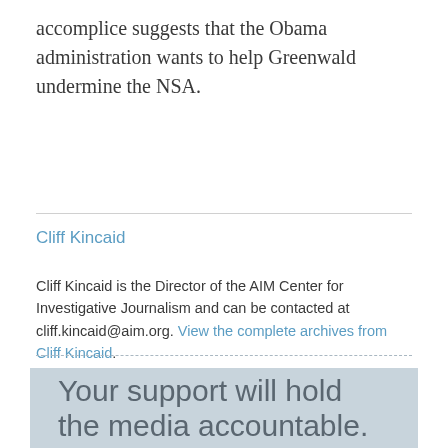accomplice suggests that the Obama administration wants to help Greenwald undermine the NSA.
Cliff Kincaid
Cliff Kincaid is the Director of the AIM Center for Investigative Journalism and can be contacted at cliff.kincaid@aim.org. View the complete archives from Cliff Kincaid.
Your support will hold the media accountable.